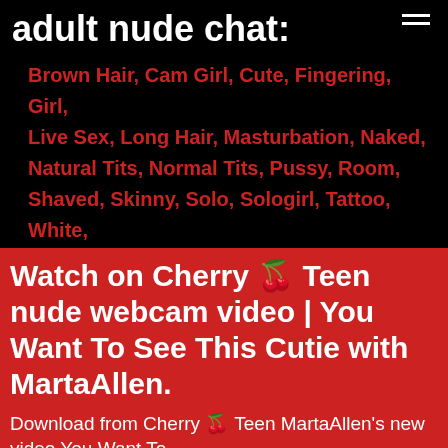adult nude chat:
Brown Hair, Cam Girl, Cute, Fingering, Girl, Live Sex, Long Hair, Masturbation, Naked, Natural Tits, Normal Tits, Pussy, Room, Shaved, Skinny, Solo, Sologirl, Tattoo, White,
Watch on Cherry 🍒 Teen nude webcam video | You Want To See This Cutie with MartaAllen.
Download from Cherry 🍒 Teen MartaAllen's new video You Want To